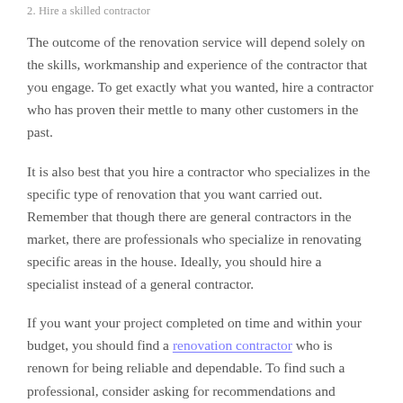2. Hire a skilled contractor
The outcome of the renovation service will depend solely on the skills, workmanship and experience of the contractor that you engage. To get exactly what you wanted, hire a contractor who has proven their mettle to many other customers in the past.
It is also best that you hire a contractor who specializes in the specific type of renovation that you want carried out. Remember that though there are general contractors in the market, there are professionals who specialize in renovating specific areas in the house. Ideally, you should hire a specialist instead of a general contractor.
If you want your project completed on time and within your budget, you should find a renovation contractor who is renown for being reliable and dependable. To find such a professional, consider asking for recommendations and referrals from your circles. If you know someone who